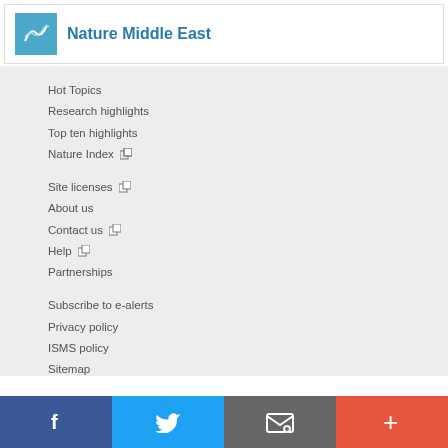Nature Middle East
Hot Topics
Research highlights
Top ten highlights
Nature Index
Site licenses
About us
Contact us
Help
Partnerships
Subscribe to e-alerts
Privacy policy
ISMS policy
Sitemap
Facebook | Twitter | Email | Plus